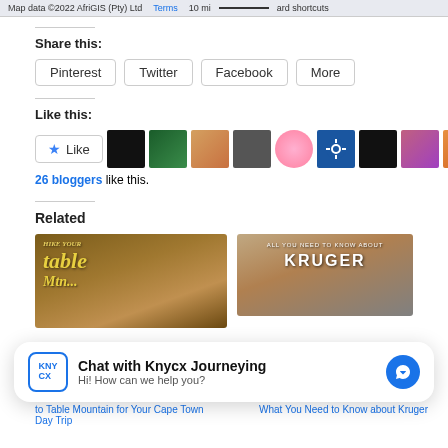Map data ©2022 AfriGIS (Pty) Ltd  Terms  10 mi  ard shortcuts
Share this:
Pinterest
Twitter
Facebook
More
Like this:
26 bloggers like this.
Related
[Figure (photo): Table Mountain Cape Town Day Trip article thumbnail]
[Figure (photo): All You Need to Know about Kruger article thumbnail]
Chat with Knycx Journeying
Hi! How can we help you?
to Table Mountain for Your Cape Town Day Trip
What You Need to Know about Kruger